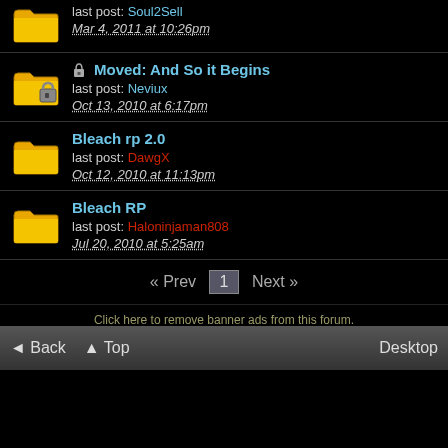last post: Soul2Sell
Mar 4, 2011 at 10:26pm
Moved: And So it Begins
last post: Neviux
Oct 13, 2010 at 6:17pm
Bleach rp 2.0
last post: DawgX
Oct 12, 2010 at 11:13pm
Bleach RP
last post: Haloninjaman808
Jul 20, 2010 at 5:25am
« Prev  1  Next »
Click here to remove banner ads from this forum.
This Forum Is Hosted For FREE By ProBoards
Get Your Own Free Forum!
Terms of Service   Privacy   Cookies   FTC Disclosure   Report Abuse   Do Not Sell My Personal Information
◄ Back   ▲ Top   Desktop